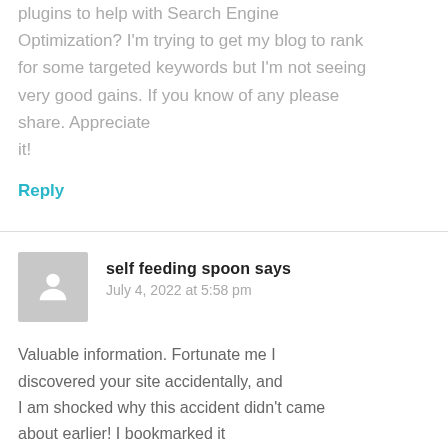plugins to help with Search Engine Optimization? I'm trying to get my blog to rank for some targeted keywords but I'm not seeing very good gains. If you know of any please share. Appreciate it!
Reply
self feeding spoon says
July 4, 2022 at 5:58 pm
Valuable information. Fortunate me I discovered your site accidentally, and I am shocked why this accident didn't came about earlier! I bookmarked it